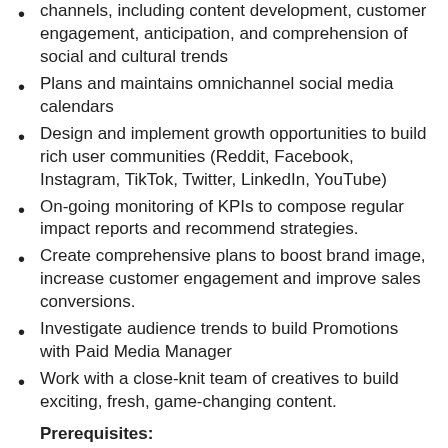channels, including content development, customer engagement, anticipation, and comprehension of social and cultural trends
Plans and maintains omnichannel social media calendars
Design and implement growth opportunities to build rich user communities (Reddit, Facebook, Instagram, TikTok, Twitter, LinkedIn, YouTube)
On-going monitoring of KPIs to compose regular impact reports and recommend strategies.
Create comprehensive plans to boost brand image, increase customer engagement and improve sales conversions.
Investigate audience trends to build Promotions with Paid Media Manager
Work with a close-knit team of creatives to build exciting, fresh, game-changing content.
Prerequisites:
6+ years of experience managing and monitoring content across social media platforms for international brands or publicly traded entities.
Skilled in delivering analysis of all KPIs, channel